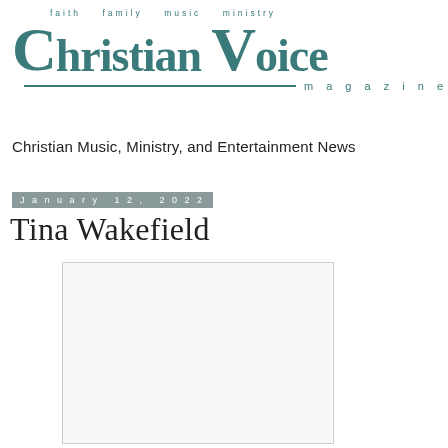[Figure (logo): Christian Voice Magazine logo with tagline 'faith family music ministry' and subtitle 'magazine' with teal serif typography]
Christian Music, Ministry, and Entertainment News
January 12, 2022
Tina Wakefield
[Figure (photo): Image placeholder rectangle with light gray background and border]